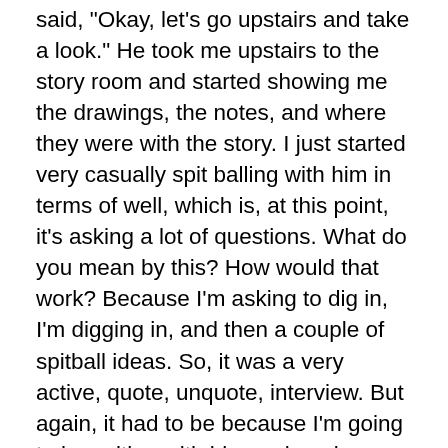said, "Okay, let's go upstairs and take a look." He took me upstairs to the story room and started showing me the drawings, the notes, and where they were with the story. I just started very casually spit balling with him in terms of well, which is, at this point, it's asking a lot of questions. What do you mean by this? How would that work? Because I'm asking to dig in, I'm digging in, and then a couple of spitball ideas. So, it was a very active, quote, unquote, interview. But again, it had to be because I'm going to be writing with him and again, doing his piece. Of course, every week I'm there, I think I'm getting fired, but I don't. I don't know that I'm special that way either. The bar is very high at Pixar. You walk in every morning past a case of Academy Awards. Everybody's doing their very best. Every artist in that building is bringing everything they have, all of their originality, all of their personal life. Everybody in the building is an artist and doing artistry from the producers to the actual physical artists. So, you do feel a camaraderie in that. But